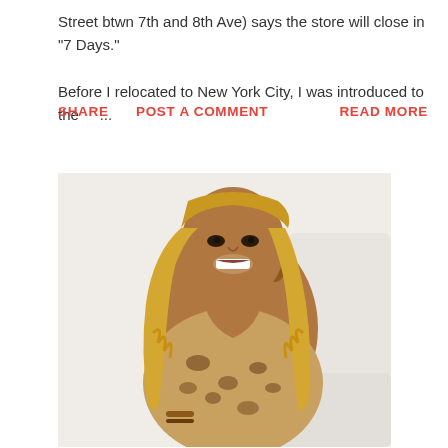Street btwn 7th and 8th Ave) says the store will close in "7 Days."

Before I relocated to New York City, I was introduced to the    ...
SHARE
POST A COMMENT
READ MORE
[Figure (photo): A smiling woman with long wavy blonde hair wearing a leopard print dress, seated on a white chair/couch against a light background.]